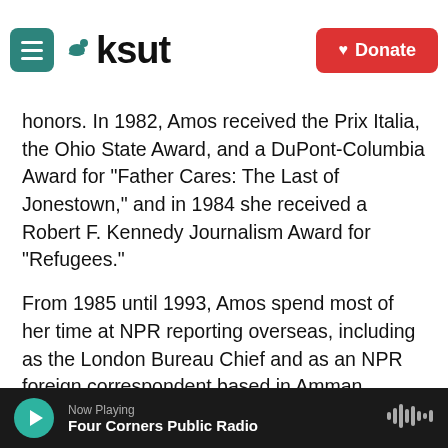KSUT — Donate
honors. In 1982, Amos received the Prix Italia, the Ohio State Award, and a DuPont-Columbia Award for "Father Cares: The Last of Jonestown," and in 1984 she received a Robert F. Kennedy Journalism Award for "Refugees."
From 1985 until 1993, Amos spend most of her time at NPR reporting overseas, including as the London Bureau Chief and as an NPR foreign correspondent based in Amman, Jordan. During that time, Amos won several awards, including a duPont-Columbia Award and a Breakthru Award, and widespread recognition for her coverage of the Gulf War in 1991.
A member of the Council on Foreign Relations, Amos is also the author of Eclipse of the Sunnis: Power, Exile, and
Now Playing — Four Corners Public Radio